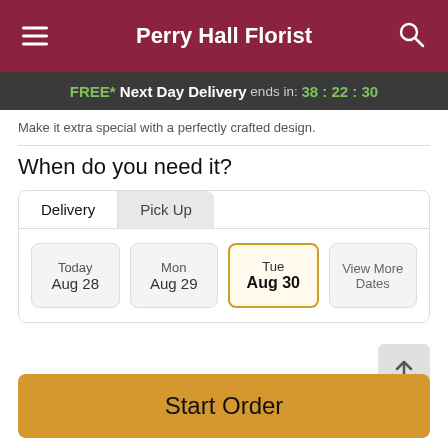Perry Hall Florist
FREE* Next Day Delivery ends in: 38:22:30
Make it extra special with a perfectly crafted design.
When do you need it?
Delivery | Pick Up
| Day | Date |
| --- | --- |
| Today | Aug 28 |
| Mon | Aug 29 |
| Tue | Aug 30 |
| View More | Dates |
Guaranteed SAFE Checkout
Start Order